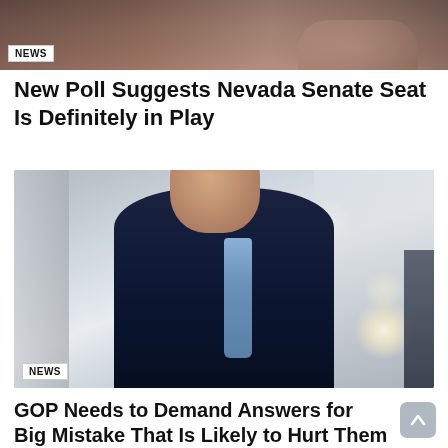[Figure (photo): Top cropped photo showing dark background with partial view of hands clasped together]
NEWS
New Poll Suggests Nevada Senate Seat Is Definitely in Play
[Figure (photo): Photo of a man in a dark suit with a light blue tie, looking upward, in an interior hallway with ceiling lights]
NEWS
GOP Needs to Demand Answers for Big Mistake That Is Likely to Hurt Them in Midterms